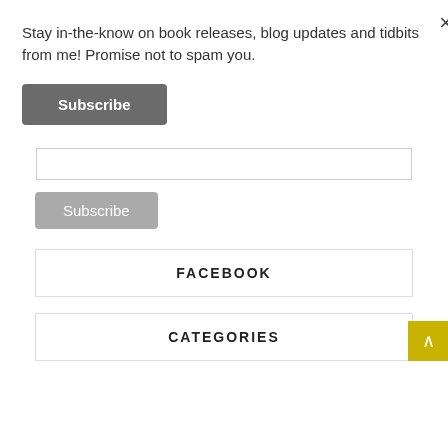Stay in-the-know on book releases, blog updates and tidbits from me! Promise not to spam you.
Subscribe
Subscribe
FACEBOOK
CATEGORIES